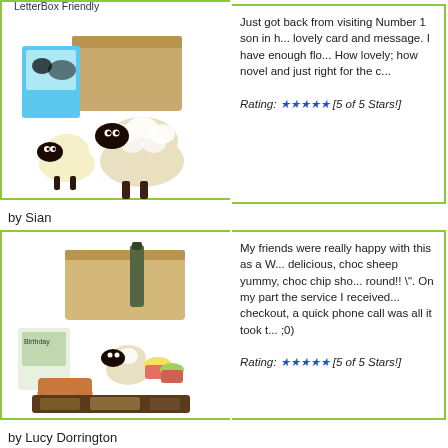LetterBox Friendly
Just got back from visiting Number 1 son in h... lovely card and message. I have enough flo... How lovely; how novel and just right for the c...
Rating: ★★★★★ [5 of 5 Stars!]
by Sian
My friends were really happy with this as a W... delicious, choc sheep yummy, choc chip sho... round!! ". On my part the service I received... checkout, a quick phone call was all it took t... ;0)
Rating: ★★★★★ [5 of 5 Stars!]
by Lucy Dorrington